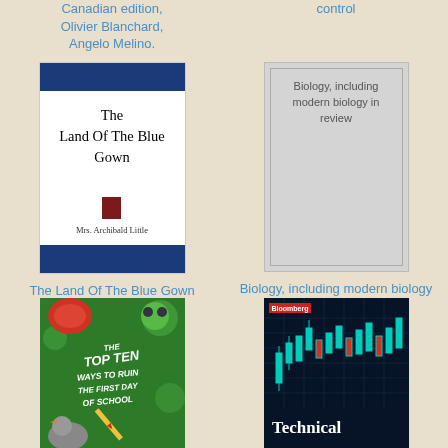Canadian edition, Olivier Blanchard, Angelo Melino.
control
[Figure (photo): Book cover: The Land Of The Blue Gown by Mrs. Archibald Little, white with navy blue top and bottom bars]
The Land Of The Blue Gown
[Figure (photo): Gray placeholder book cover with text: Biology, including modern biology in review]
Biology, including modern biology in review
[Figure (photo): Green book cover: The Top Ten Ways To Ruin The First Day Of School]
[Figure (photo): Bloomberg financial/technical analysis book cover with dark blue background and stock chart]